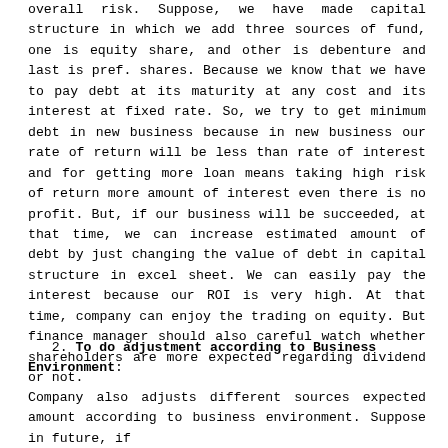overall risk. Suppose, we have made capital structure in which we add three sources of fund, one is equity share, and other is debenture and last is pref. shares. Because we know that we have to pay debt at its maturity at any cost and its interest at fixed rate. So, we try to get minimum debt in new business because in new business our rate of return will be less than rate of interest and for getting more loan means taking high risk of return more amount of interest even there is no profit. But, if our business will be succeeded, at that time, we can increase estimated amount of debt by just changing the value of debt in capital structure in excel sheet. We can easily pay the interest because our ROI is very high. At that time, company can enjoy the trading on equity. But finance manager should also careful watch whether shareholders are more expected regarding dividend or not.
2. To do adjustment according to Business Environment:
Company also adjusts different sources expected amount according to business environment. Suppose in future, if